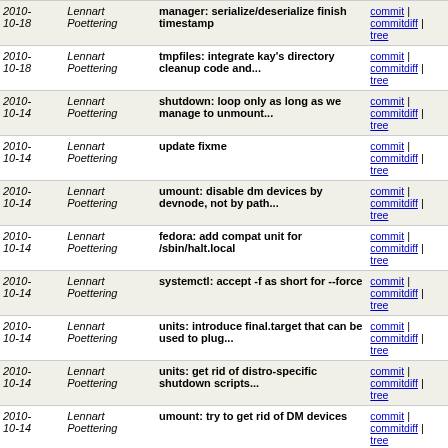| Date | Author | Message | Links |
| --- | --- | --- | --- |
| 2010-10-18 | Lennart Poettering | manager: serialize/deserialize finish timestamp | commit | commitdiff | tree |
| 2010-10-18 | Lennart Poettering | tmpfiles: integrate kay's directory cleanup code and... | commit | commitdiff | tree |
| 2010-10-14 | Lennart Poettering | shutdown: loop only as long as we manage to unmount... | commit | commitdiff | tree |
| 2010-10-14 | Lennart Poettering | update fixme | commit | commitdiff | tree |
| 2010-10-14 | Lennart Poettering | umount: disable dm devices by devnode, not by path... | commit | commitdiff | tree |
| 2010-10-14 | Lennart Poettering | fedora: add compat unit for /sbin/halt.local | commit | commitdiff | tree |
| 2010-10-14 | Lennart Poettering | systemctl: accept -f as short for --force | commit | commitdiff | tree |
| 2010-10-14 | Lennart Poettering | units: introduce final.target that can be used to plug... | commit | commitdiff | tree |
| 2010-10-14 | Lennart Poettering | units: get rid of distro-specific shutdown scripts... | commit | commitdiff | tree |
| 2010-10-14 | Lennart Poettering | umount: try to get rid of DM devices | commit | commitdiff | tree |
| 2010-10-13 | Lennart Poettering | shutdown: log to console by default | commit | commitdiff | tree |
| 2010-10-13 | Lennart Poettering | units: introduce kexec.service, kexec.target and exit... | commit | commitdiff | tree |
| 2010-10-13 | Fabiano Fidencio | vala: register new D-Bus calls | commit | commitdiff | tree |
| 2010-10-... | Lennart ... | systemctl: rework | commit |